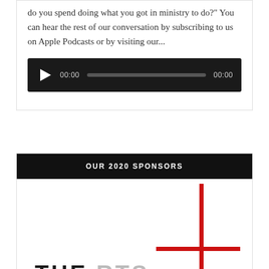do you spend doing what you got in ministry to do?" You can hear the rest of our conversation by subscribing to us on Apple Podcasts or by visiting our...
[Figure (other): Audio player widget with dark background, play button triangle, time display showing 00:00, progress bar, and end time 00:00]
OUR 2020 SPONSORS
[Figure (logo): THE RTS logo with a red plus/cross symbol overlay. Black bold text reading 'THE RTS' with a red cross shape in the upper right area of the logo panel.]